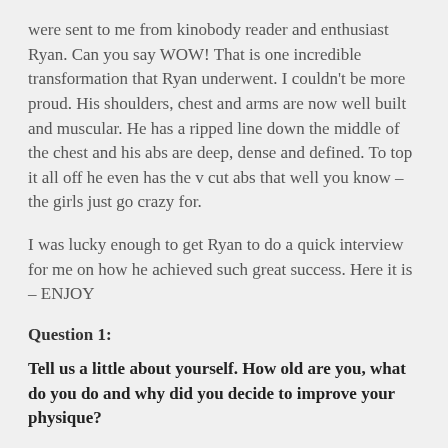were sent to me from kinobody reader and enthusiast Ryan. Can you say WOW! That is one incredible transformation that Ryan underwent. I couldn't be more proud. His shoulders, chest and arms are now well built and muscular. He has a ripped line down the middle of the chest and his abs are deep, dense and defined. To top it all off he even has the v cut abs that well you know – the girls just go crazy for.
I was lucky enough to get Ryan to do a quick interview for me on how he achieved such great success. Here it is – ENJOY
Question 1:
Tell us a little about yourself. How old are you, what do you do and why did you decide to improve your physique?